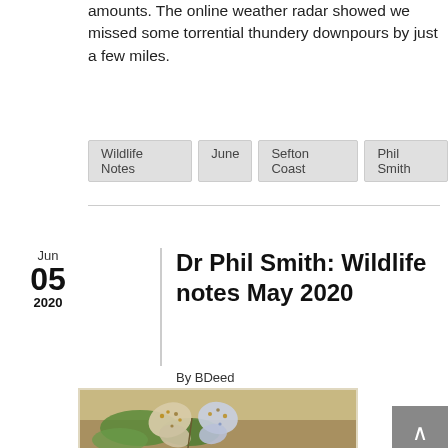amounts. The online weather radar showed we missed some torrential thundery downpours by just a few miles.
Wildlife Notes
June
Sefton Coast
Phil Smith
Dr Phil Smith: Wildlife notes May 2020
By BDeed
[Figure (photo): Two common blue butterflies perched on green vegetation, wings closed showing spotted undersides with orange and white markings]